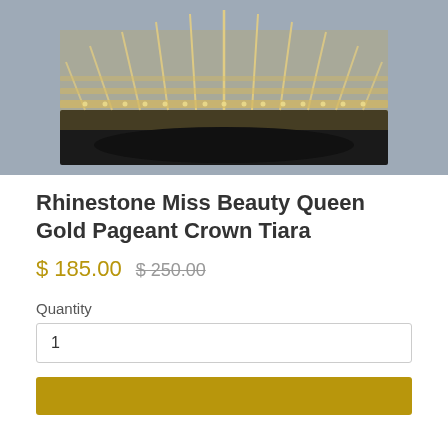[Figure (photo): Close-up photo of a rhinestone-studded gold pageant crown tiara on a dark display stand, against a gray background.]
Rhinestone Miss Beauty Queen Gold Pageant Crown Tiara
$ 185.00  $ 250.00
Quantity
1